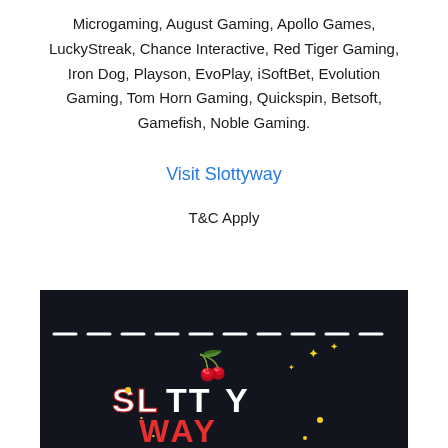Microgaming, August Gaming, Apollo Games, LuckyStreak, Chance Interactive, Red Tiger Gaming, Iron Dog, Playson, EvoPlay, iSoftBet, Evolution Gaming, Tom Horn Gaming, Quickspin, Betsoft, Gamefish, Noble Gaming.
Visit Slottyway
T&C Apply
[Figure (illustration): Dark banner with dashed white horizontal line and Slottyway casino logo with cherry graphic and colorful 3D lettering on dark background]